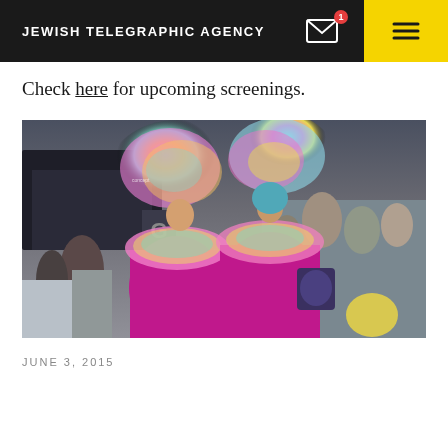JEWISH TELEGRAPHIC AGENCY
Check here for upcoming screenings.
[Figure (photo): Two people in elaborate magenta dresses and large colorful feathered headdresses in pink, yellow, and teal/blue, standing in a crowd at what appears to be an outdoor parade or festival event.]
JUNE 3, 2015